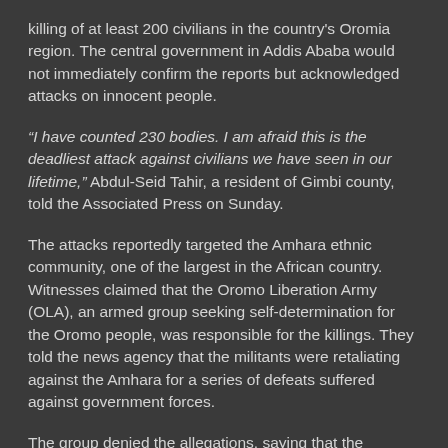killing of at least 200 civilians in the country's Oromia region. The central government in Addis Ababa would not immediately confirm the reports but acknowledged attacks on innocent people.
“I have counted 230 bodies. I am afraid this is the deadliest attack against civilians we have seen in our lifetime,” Abdul-Seid Tahir, a resident of Gimbi county, told the Associated Press on Sunday.
The attacks reportedly targeted the Amhara ethnic community, one of the largest in the African country. Witnesses claimed that the Oromo Liberation Army (OLA), an armed group seeking self-determination for the Oromo people, was responsible for the killings. They told the news agency that the militants were retaliating against the Amhara for a series of defeats suffered against government forces.
The group denied the allegations, saying that the “regime and